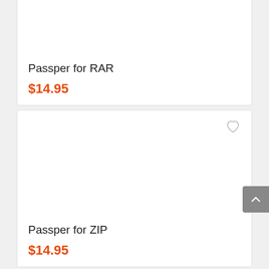Passper for RAR
$14.95
Passper for ZIP
$14.95